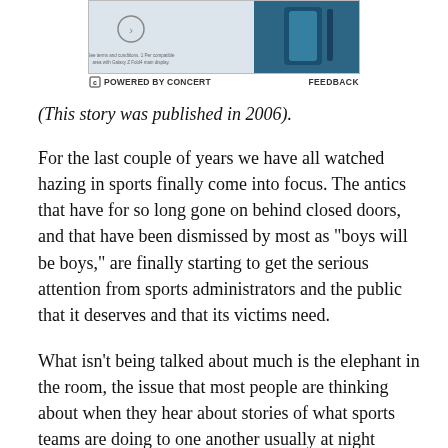[Figure (other): Advertisement banner image showing a dark teal/blue colored product (appears to be a Samsung Galaxy Z Fold phone), with a circular icon and small terms and conditions text.]
POWERED BY CONCERT   FEEDBACK
(This story was published in 2006).
For the last couple of years we have all watched hazing in sports finally come into focus. The antics that have for so long gone on behind closed doors, and that have been dismissed by most as "boys will be boys," are finally starting to get the serious attention from sports administrators and the public that it deserves and that its victims need.
What isn't being talked about much is the elephant in the room, the issue that most people are thinking about when they hear about stories of what sports teams are doing to one another usually at night behind those